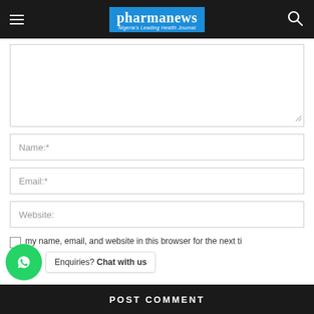pharmanews — Nigeria's Leading Health Journal
[Figure (screenshot): Website comment form with textarea, Name, Email, Website input fields, save checkbox, WhatsApp chat widget, and POST COMMENT button]
Save my name, email, and website in this browser for the next ti...
Enquiries? Chat with us
POST COMMENT